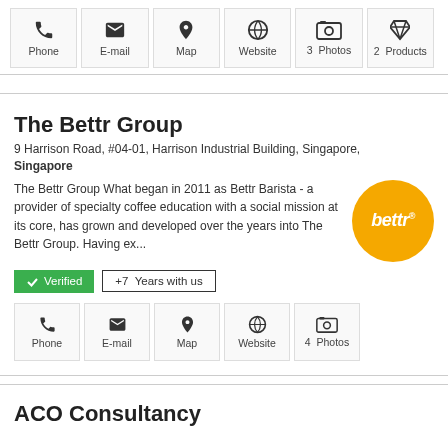[Figure (infographic): Top icon bar with 6 action buttons: Phone, E-mail, Map, Website, Photos (3), Products (2)]
The Bettr Group
9 Harrison Road, #04-01, Harrison Industrial Building, Singapore, Singapore
The Bettr Group What began in 2011 as Bettr Barista - a provider of specialty coffee education with a social mission at its core, has grown and developed over the years into The Bettr Group. Having ex...
[Figure (logo): Bettr logo: yellow circle with white italic text 'bettr']
✓ Verified   +7 Years with us
[Figure (infographic): Bottom icon bar with 5 action buttons: Phone, E-mail, Map, Website, Photos (4)]
ACO Consultancy